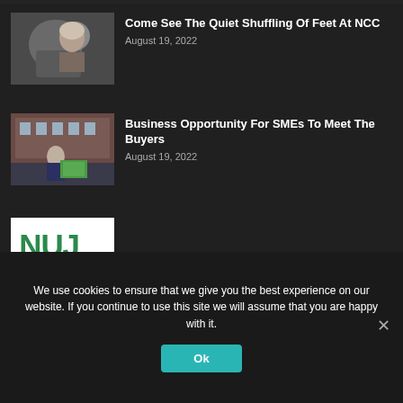[Figure (photo): Partial top photo strip of a person's face, cropped at top]
[Figure (photo): Photo of older white-haired man, side profile]
Come See The Quiet Shuffling Of Feet At NCC
August 19, 2022
[Figure (photo): Photo of man in suit holding a sign outdoors near red brick building]
Business Opportunity For SMEs To Meet The Buyers
August 19, 2022
[Figure (logo): NUJ - National Union of Journalists logo in green on white background]
We use cookies to ensure that we give you the best experience on our website. If you continue to use this site we will assume that you are happy with it.